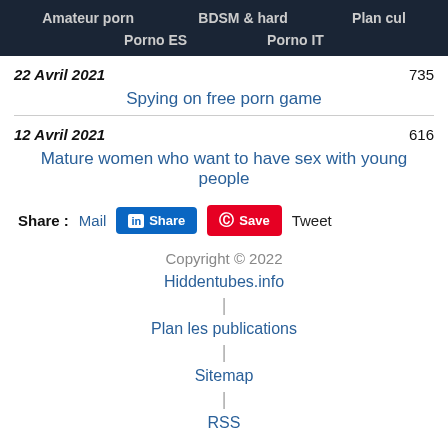Amateur porn | BDSM & hard | Plan cul | Porno ES | Porno IT
22 Avril 2021   735
Spying on free porn game
12 Avril 2021   616
Mature women who want to have sex with young people
Share : Mail Share Save Tweet
Copyright © 2022
Hiddentubes.info
|
Plan les publications
|
Sitemap
|
RSS